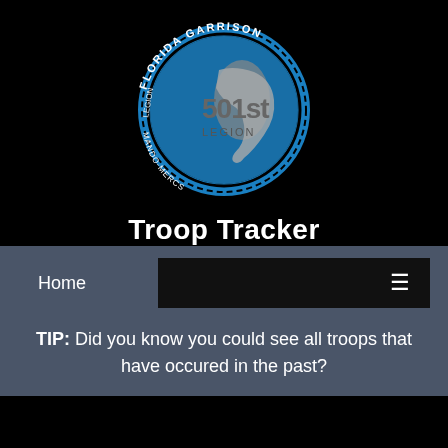[Figure (logo): Florida Garrison 501st Legion circular logo with blue globe, Florida state outline in gray, and Star Wars Aurebesh text around the border]
Troop Tracker
Home
TIP: Did you know you could see all troops that have occured in the past?